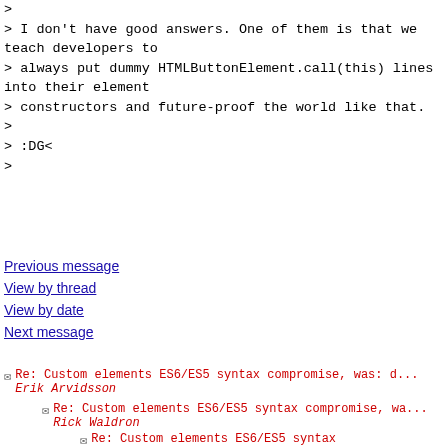>
> I don't have good answers. One of them is that we teach developers to
> always put dummy HTMLButtonElement.call(this) lines into their element
> constructors and future-proof the world like that.
>
> :DG<
>
Previous message
View by thread
View by date
Next message
Re: Custom elements ES6/ES5 syntax compromise, was: d... Erik Arvidsson
Re: Custom elements ES6/ES5 syntax compromise, wa... Rick Waldron
Re: Custom elements ES6/ES5 syntax